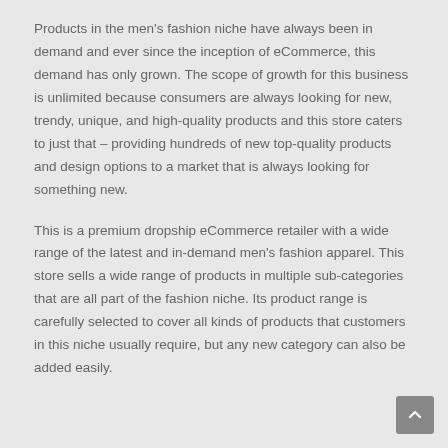Products in the men's fashion niche have always been in demand and ever since the inception of eCommerce, this demand has only grown. The scope of growth for this business is unlimited because consumers are always looking for new, trendy, unique, and high-quality products and this store caters to just that – providing hundreds of new top-quality products and design options to a market that is always looking for something new.
This is a premium dropship eCommerce retailer with a wide range of the latest and in-demand men's fashion apparel. This store sells a wide range of products in multiple sub-categories that are all part of the fashion niche. Its product range is carefully selected to cover all kinds of products that customers in this niche usually require, but any new category can also be added easily.